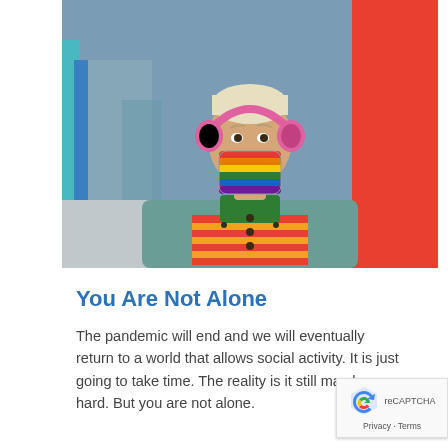[Figure (photo): A person wearing a rainbow pride face mask and pink headphones, a teal denim jacket over a colorful striped orange-red shirt. They have very short bleached hair and stand in front of colorful rainbow-striped columns, looking at the camera.]
You Are Not Alone
The pandemic will end and we will eventually return to a world that allows social activity. It is just going to take time. The reality is it still may be hard. But you are not alone.